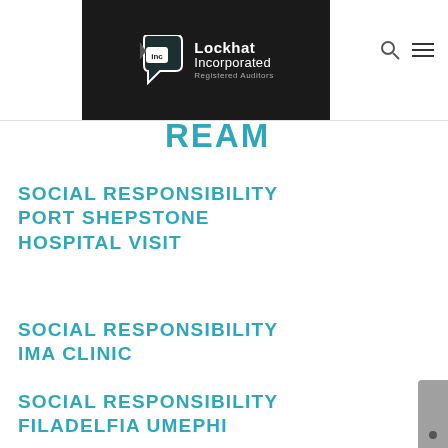Lockhat Incorporated Registered Auditors
ALREADY A DREAM
SOCIAL RESPONSIBILITY PORT SHEPSTONE HOSPITAL VISIT
SOCIAL RESPONSIBILITY IMA CLINIC
SOCIAL RESPONSIBILITY FILADELFIA UMEPHI
SOCIAL RESPONSIBILITY EMSINI CHILDRENS HOME